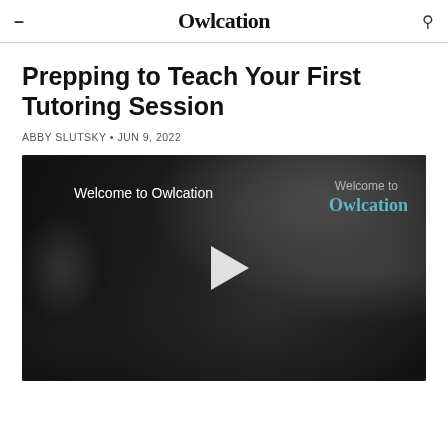Owlcation
Prepping to Teach Your First Tutoring Session
ABBY SLUTSKY • JUN 9, 2022
[Figure (screenshot): Video thumbnail with dark rocky background, play button in center, text 'Welcome to Owlcation' on left and 'Welcome to Owlcation' branding on upper right]